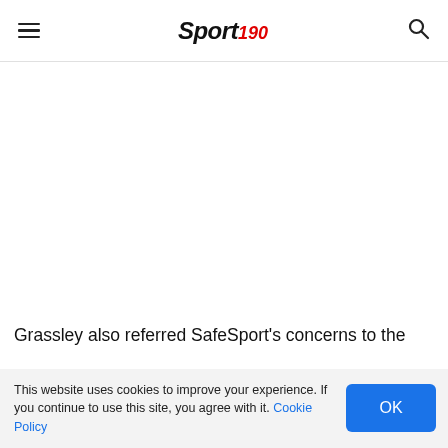Sport 190 — navigation header with hamburger menu, Sport190 logo, and search icon
Grassley also referred SafeSport's concerns to the
This website uses cookies to improve your experience. If you continue to use this site, you agree with it. Cookie Policy OK